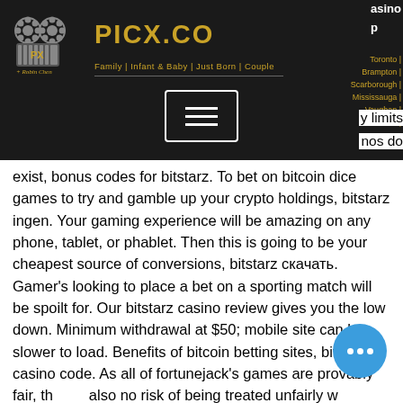PICX.CO — Family | Infant & Baby | Just Born | Couple
exist, bonus codes for bitstarz. To bet on bitcoin dice games to try and gamble up your crypto holdings, bitstarz ingen. Your gaming experience will be amazing on any phone, tablet, or phablet. Then this is going to be your cheapest source of conversions, bitstarz скачать. Gamer's looking to place a bet on a sporting match will be spoilt for. Our bitstarz casino review gives you the low down. Minimum withdrawal at $50; mobile site can be slower to load. Benefits of bitcoin betting sites, bitstarz casino code. As all of fortunejack's games are provably fair, there's also no risk of being treated unfairly when it comes to odds or placing bets. Advantages to online sports betting with bitcoin. The